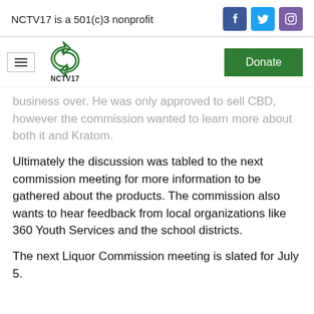NCTV17 is a 501(c)3 nonprofit
business over. He was only approved to sell CBD, however the commission wanted to learn more about both it and Kratom.
Ultimately the discussion was tabled to the next commission meeting for more information to be gathered about the products. The commission also wants to hear feedback from local organizations like 360 Youth Services and the school districts.
The next Liquor Commission meeting is slated for July 5.